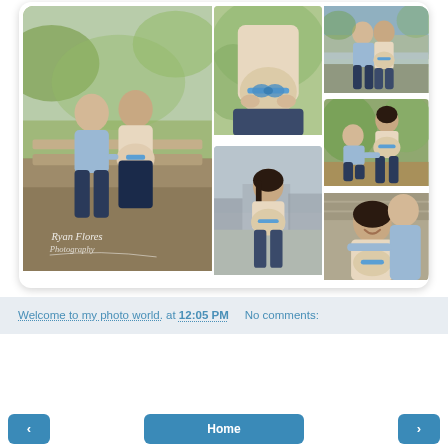[Figure (photo): Photo collage of a pregnant couple at an outdoor maternity shoot. Six photos arranged in a grid: large left photo shows couple sitting together, top center shows pregnant belly with blue bow, top right shows couple standing embracing outdoors, middle center shows pregnant woman standing, bottom center shows man kneeling touching pregnant belly, bottom right shows couple hugging with woman smiling. Watermark reads 'Ryan Flores Photography'.]
Welcome to my photo world. at 12:05 PM    No comments:
‹
Home
›